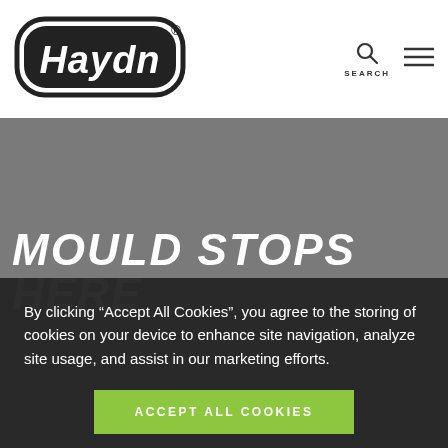[Figure (logo): Haydn brand logo in black rounded rectangle with italic serif text]
[Figure (screenshot): Gray hero section background with large white bold italic text MOULD STOPS HERE]
MOULD STOPS HERE
By clicking “Accept All Cookies”, you agree to the storing of cookies on your device to enhance site navigation, analyze site usage, and assist in our marketing efforts.
ACCEPT ALL COOKIES